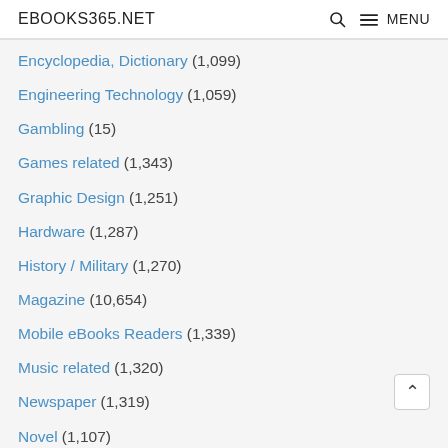EBOOKS365.NET  🔍  ☰ MENU
Encyclopedia, Dictionary (1,099)
Engineering Technology (1,059)
Gambling (15)
Games related (1,343)
Graphic Design (1,251)
Hardware (1,287)
History / Military (1,270)
Magazine (10,654)
Mobile eBooks Readers (1,339)
Music related (1,320)
Newspaper (1,319)
Novel (1,107)